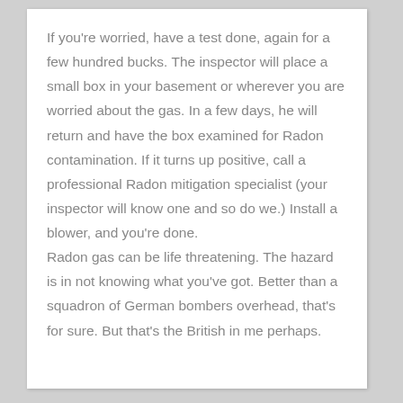If you're worried, have a test done, again for a few hundred bucks. The inspector will place a small box in your basement or wherever you are worried about the gas. In a few days, he will return and have the box examined for Radon contamination. If it turns up positive, call a professional Radon mitigation specialist (your inspector will know one and so do we.) Install a blower, and you're done.
Radon gas can be life threatening. The hazard is in not knowing what you've got. Better than a squadron of German bombers overhead, that's for sure. But that's the British in me perhaps.